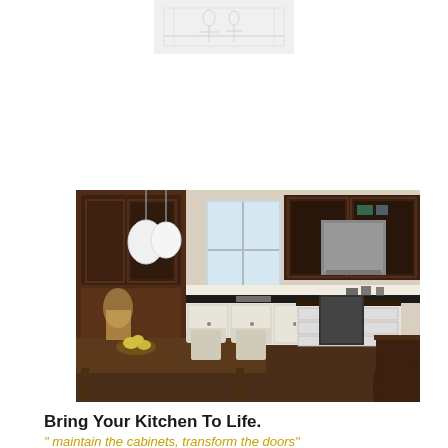[Figure (photo): Faint/light image at top center, appears to be a kitchen or interior sketch in pale gray tones]
[Figure (photo): Photo of a traditional kitchen with dark wood cabinetry, white lower cabinets, kitchen island with white drawers, pendant lights, and a wooden dining table with chairs in the foreground]
Bring Your Kitchen To Life.
" maintain the cabinets, transform the doors"